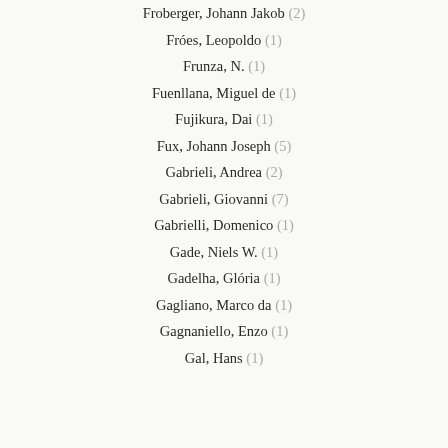Froberger, Johann Jakob (2)
Fróes, Leopoldo (1)
Frunza, N. (1)
Fuenllana, Miguel de (1)
Fujikura, Dai (1)
Fux, Johann Joseph (5)
Gabrieli, Andrea (2)
Gabrieli, Giovanni (7)
Gabrielli, Domenico (1)
Gade, Niels W. (1)
Gadelha, Glória (1)
Gagliano, Marco da (1)
Gagnaniello, Enzo (1)
Gal, Hans (1)